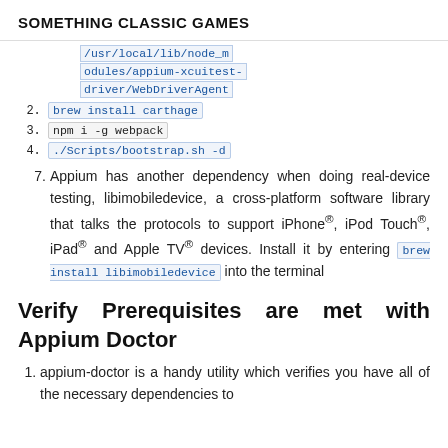SOMETHING CLASSIC GAMES
/usr/local/lib/node_modules/appium/node_modules/appium-xcuitest-driver/WebDriverAgent
brew install carthage
npm i -g webpack
./Scripts/bootstrap.sh -d
7. Appium has another dependency when doing real-device testing, libimobiledevice, a cross-platform software library that talks the protocols to support iPhone®, iPod Touch®, iPad® and Apple TV® devices. Install it by entering brew install libimobiledevice into the terminal
Verify Prerequisites are met with Appium Doctor
appium-doctor is a handy utility which verifies you have all of the necessary dependencies to